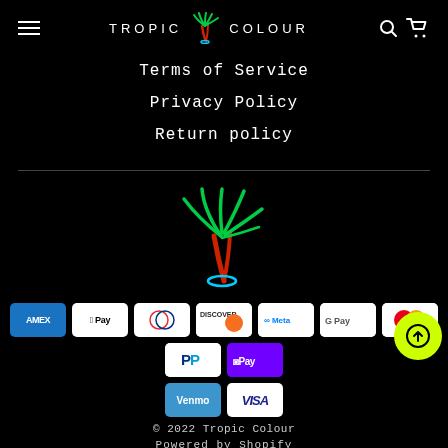TROPIC COLOUR — navigation header with hamburger menu, logo, search and cart icons
Terms of Service
Privacy Policy
Return policy
[Figure (illustration): Neon palm tree logo illustration in green and red on black background]
[Figure (infographic): Payment method icons: Amex, Apple Pay, Diners Club, Discover, Meta Pay, Google Pay, Mastercard, PayPal, Shop Pay, Venmo, Visa]
© 2022 Tropic Colour
Powered by Shopify